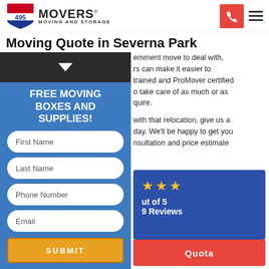[Figure (logo): 495 Movers Moving and Storage logo with interstate shield]
Moving Quote in Severna Park
...ernment move to deal with, ...rs can make it easier to ...r trained and ProMover certified ...o take care of as much or as ...quire.
...with that relocation, give us a ...day. We'll be happy to get you ...nsultation and price estimate
[Figure (infographic): Blue review card with 2 gold stars, rating out of 5, and number of reviews]
[Figure (screenshot): Form overlay with FREE MOVING BOXES AND SUPPLIES promo and input fields for First Name, Last Name, Phone Number, Email, and Submit button]